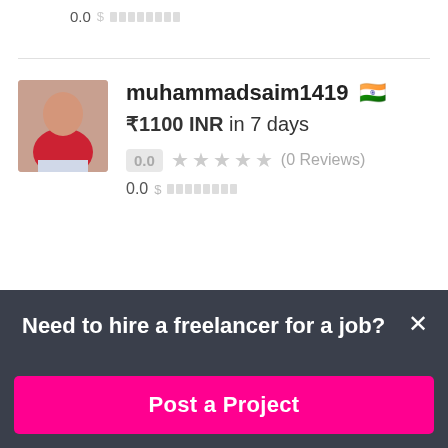0.0
muhammadsaim1419 🇮🇳
₹1100 INR in 7 days
0.0 ★★★★★ (0 Reviews)
0.0
Need to hire a freelancer for a job?
Post a Project